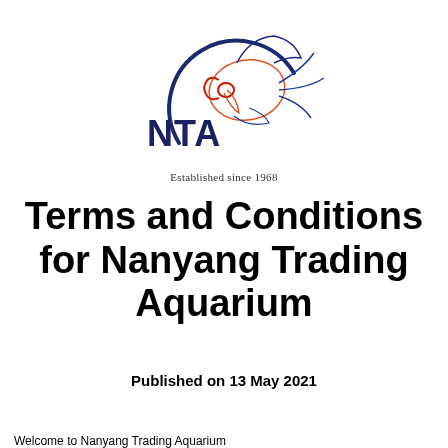[Figure (logo): NTA (Nanyang Trading Aquarium) logo: circular arc design with outline of a fish (discus/angelfish) in red, blue and orange line art, with bold dark navy letters NTA at lower left. Below logo: 'Established since 1968' in serif font.]
Terms and Conditions for Nanyang Trading Aquarium
Published on 13 May 2021
Welcome to Nanyang Trading Aquarium